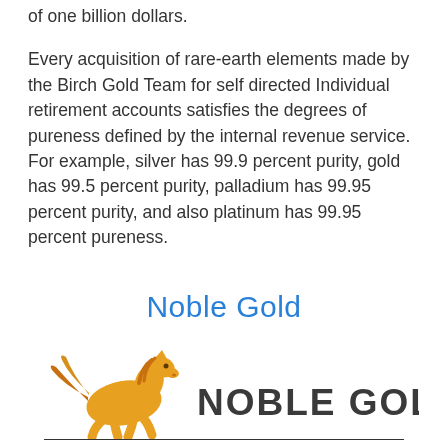of one billion dollars.
Every acquisition of rare-earth elements made by the Birch Gold Team for self directed Individual retirement accounts satisfies the degrees of pureness defined by the internal revenue service. For example, silver has 99.9 percent purity, gold has 99.5 percent purity, palladium has 99.95 percent purity, and also platinum has 99.95 percent pureness.
Noble Gold
[Figure (logo): Noble Gold logo featuring a golden running horse and the text NOBLE GOLD in dark grey bold letters]